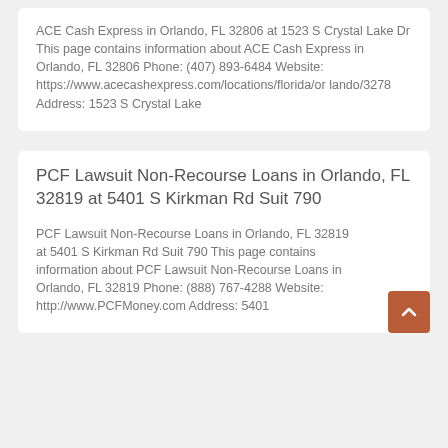ACE Cash Express in Orlando, FL 32806 at 1523 S Crystal Lake Dr This page contains information about ACE Cash Express in Orlando, FL 32806 Phone: (407) 893-6484 Website: https://www.acecashexpress.com/locations/florida/orlando/3278 Address: 1523 S Crystal Lake
PCF Lawsuit Non-Recourse Loans in Orlando, FL 32819 at 5401 S Kirkman Rd Suit 790
PCF Lawsuit Non-Recourse Loans in Orlando, FL 32819 at 5401 S Kirkman Rd Suit 790 This page contains information about PCF Lawsuit Non-Recourse Loans in Orlando, FL 32819 Phone: (888) 767-4288 Website: http://www.PCFMoney.com Address: 5401